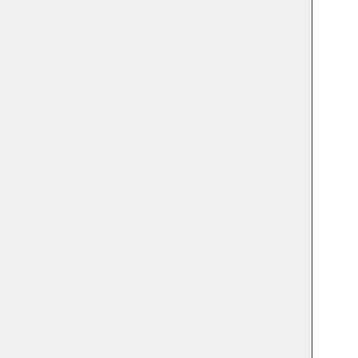|  |  |  |
| --- | --- | --- |
|  |  | of metr nitrate (MENO ethyl ni (ETNO needed small a nitrate chemis |
| MOH | DEFAULT | Methan emissiod describ Chen e (2019) |
| CMIP6 | DEFAULT (UCX-based simulations) | Latitudi and mo resolve surface concen |